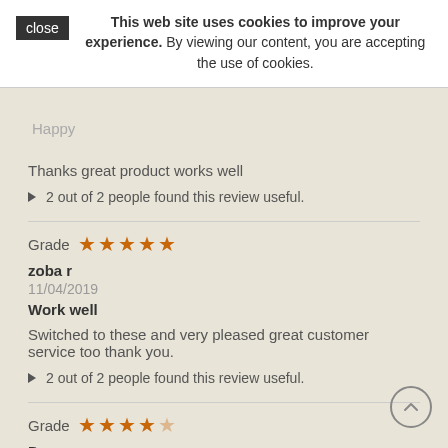This web site uses cookies to improve your experience. By viewing our content, you are accepting the use of cookies.
Thanks great product works well
2 out of 2 people found this review useful.
Grade ★★★★★
zoba r
11/04/2019
Work well
Switched to these and very pleased great customer service too thank you.
2 out of 2 people found this review useful.
Grade ★★★★☆
Dan